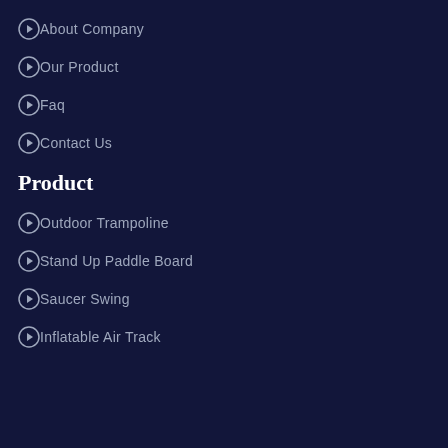About Company
Our Product
Faq
Contact Us
Product
Outdoor Trampoline
Stand Up Paddle Board
Saucer Swing
Inflatable Air Track